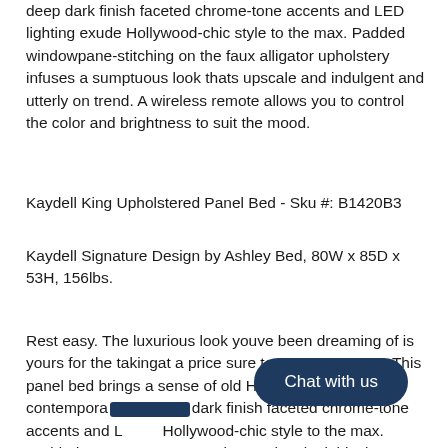deep dark finish faceted chrome-tone accents and LED lighting exude Hollywood-chic style to the max. Padded windowpane-stitching on the faux alligator upholstery infuses a sumptuous look thats upscale and indulgent and utterly on trend. A wireless remote allows you to control the color and brightness to suit the mood.
Kaydell King Upholstered Panel Bed - Sku #: B1420B3
Kaydell Signature Design by Ashley Bed, 80W x 85D x 53H, 156lbs.
Rest easy. The luxurious look youve been dreaming of is yours for the takingat a price sure to put you at ease. This panel bed brings a sense of old Hollywood with a contempora... dark finish faceted chrome-tone accents and L... Hollywood-chic style to the max. Padded wi... ...ning on the sleek black upholstery infuses a sumptuous look thats